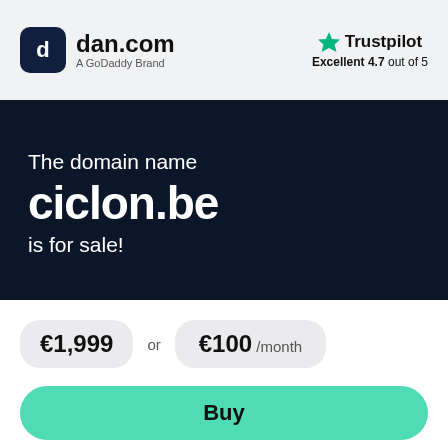[Figure (logo): dan.com logo with dark rounded square icon containing stylized 'd' letter, text 'dan.com' in bold and 'A GoDaddy Brand' subtitle]
[Figure (logo): Trustpilot logo with green star icon, text 'Trustpilot' and rating 'Excellent 4.7 out of 5']
The domain name ciclon.be is for sale!
€1,999 or €100 /month
Buy